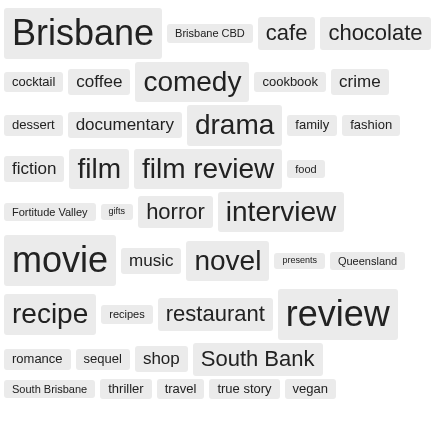[Figure (infographic): Tag cloud of blog/content categories with varying font sizes indicating frequency. Tags include: Brisbane, Brisbane CBD, cafe, chocolate, cocktail, coffee, comedy, cookbook, crime, dessert, documentary, drama, family, fashion, fiction, film, film review, food, Fortitude Valley, gifts, horror, interview, movie, music, novel, presents, Queensland, recipe, recipes, restaurant, review, romance, sequel, shop, South Bank, South Brisbane, thriller, travel, true story, vegan]